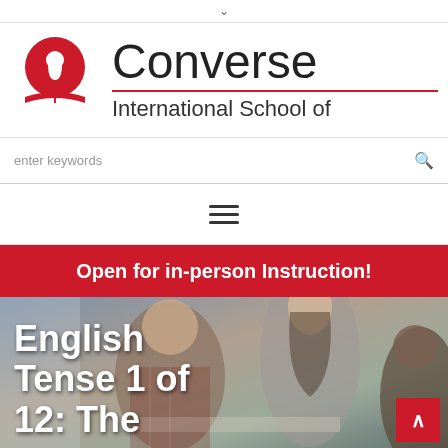[Figure (logo): Converse International School of Languages logo — red circle with white keyhole figure, red open book shape below, next to 'Converse' in large light font with 'International School of' in smaller text, separated by a red horizontal line]
enter keywords
[Figure (other): Hamburger menu icon — three horizontal dark lines]
Open for in-person Instruction!
[Figure (photo): Background photo of students studying together in a classroom/office setting. A man in a plaid shirt smiling, a woman with long hair, and another person partially visible.]
English Tense 1 of 12: The